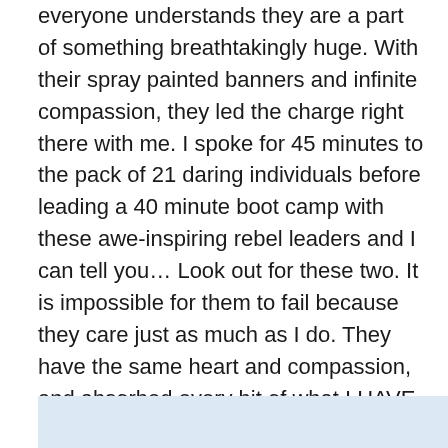everyone understands they are a part of something breathtakingly huge. With their spray painted banners and infinite compassion, they led the charge right there with me. I spoke for 45 minutes to the pack of 21 daring individuals before leading a 40 minute boot camp with these awe-inspiring rebel leaders and I can tell you… Look out for these two. It is impossible for them to fail because they care just as much as I do. They have the same heart and compassion, and absorbed every bit of what I HAVE figured out coupled with a program I KNOW works because I have meticulously designed it for years. After the boot camp, they had 7 new sign ups. My first challenge ended with 5.

Mission accomplished.
[Figure (photo): Light blue image block at the bottom of the page, partially visible.]